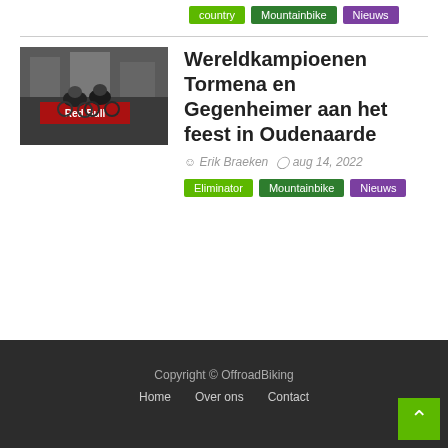country | Mountainbike | Nieuws
[Figure (photo): Photo of mountain bikers racing, Red Bull branding visible in background]
Wereldkampioenen Tormena en Gegenheimer aan het feest in Oudenaarde
Erik Braeken  aug 14, 2022
Eliminator | Mountainbike | Nieuws
Copyright © OffroadBiking  Home  Over ons  Contact